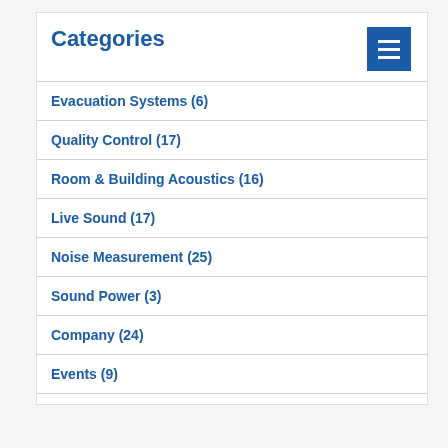Categories
Evacuation Systems (6)
Quality Control (17)
Room & Building Acoustics (16)
Live Sound (17)
Noise Measurement (25)
Sound Power (3)
Company (24)
Events (9)